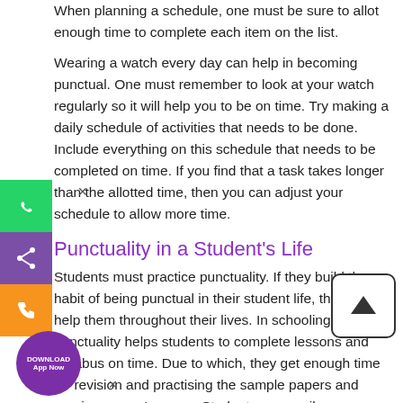When planning a schedule, one must be sure to allot enough time to complete each item on the list.
Wearing a watch every day can help in becoming punctual. One must remember to look at your watch regularly so it will help you to be on time. Try making a daily schedule of activities that needs to be done. Include everything on this schedule that needs to be completed on time. If you find that a task takes longer than the allotted time, then you can adjust your schedule to allow more time.
Punctuality in a Student's Life
Students must practice punctuality. If they build the habit of being punctual in their student life, then it will help them throughout their lives. In schooling, punctuality helps students to complete lessons and syllabus on time. Due to which, they get enough time for revision and practising the sample papers and previous years' papers. Students can easily manage their academic life and achieve success.
Conclusion
Punctuality is a very good habit, and each one of us tries to inculcate it in our lives. It is one of the important factors for